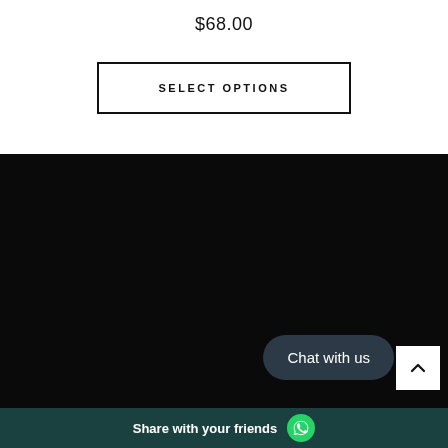$68.00
SELECT OPTIONS
[Figure (screenshot): Large black/dark section occupying the lower middle portion of the page]
[Figure (other): Scroll-to-top button with upward chevron arrow, white background]
Chat with us
Share with your friends